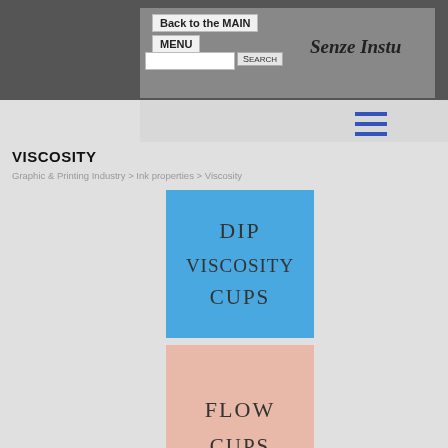Back to the MAIN MENU | Senze Instr...
VISCOSITY
Graphic & Printing Industry > Ink properties > Viscosity
[Figure (illustration): Blue square tile labeled DIP VISCOSITY CUPS in decorative serif font]
[Figure (illustration): Pink/salmon square tile labeled FLOW CUPS in decorative serif font]